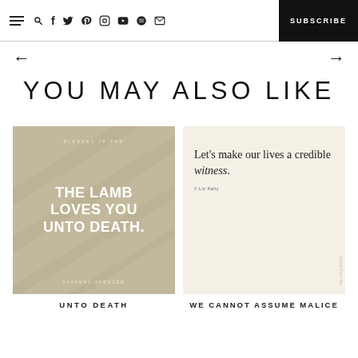SUBSCRIBE
YOU MAY ALSO LIKE
[Figure (illustration): Card image with tan/beige textured background and bold white text reading 'THE LAMB LOVES YOU UNTO DEATH.' with small text 'BLESSED IS SHE' at top and 'SAVANNA SPENCER' at bottom]
UNTO DEATH
[Figure (illustration): Card image with cream background showing quote text: Let's make our lives a credible witness. // Liz Kelly, with vertical watermark text at right]
WE CANNOT ASSUME MALICE